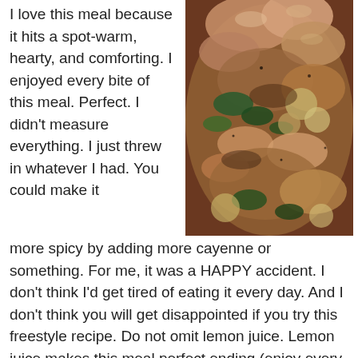I love this meal because it hits a spot- warm, hearty, and comforting. I enjoyed every bite of this meal. Perfect. I didn't measure everything. I just threw in whatever I had. You could make it more spicy by adding more cayenne or something. For me, it was a HAPPY accident. I don't think I'd get tired of eating it every day. And I don't think you will get disappointed if you try this freestyle recipe. Do not omit lemon juice. Lemon juice makes this meal perfect ending (enjoy every bite). Good luck!
[Figure (photo): Close-up photo of a cooked dish with mushrooms, greens, cauliflower and other vegetables in a pan]
Ingredients for Bratty Rice: